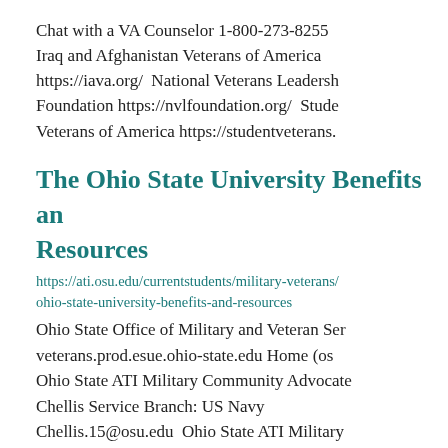Chat with a VA Counselor 1-800-273-8255 Iraq and Afghanistan Veterans of America https://iava.org/  National Veterans Leadership Foundation https://nvlfoundation.org/  Student Veterans of America https://studentveterans.
The Ohio State University Benefits and Resources
https://ati.osu.edu/currentstudents/military-veterans/ohio-state-university-benefits-and-resources
Ohio State Office of Military and Veteran Services veterans.prod.esue.ohio-state.edu Home (osu Ohio State ATI Military Community Advocate Chellis Service Branch: US Navy Chellis.15@osu.edu  Ohio State ATI Military